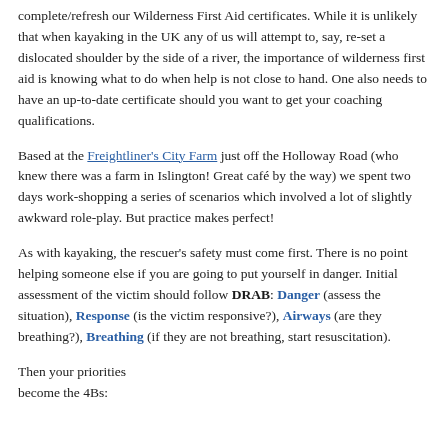complete/refresh our Wilderness First Aid certificates. While it is unlikely that when kayaking in the UK any of us will attempt to, say, re-set a dislocated shoulder by the side of a river, the importance of wilderness first aid is knowing what to do when help is not close to hand. One also needs to have an up-to-date certificate should you want to get your coaching qualifications.
Based at the Freightliner's City Farm just off the Holloway Road (who knew there was a farm in Islington! Great café by the way) we spent two days work-shopping a series of scenarios which involved a lot of slightly awkward role-play. But practice makes perfect!
As with kayaking, the rescuer's safety must come first. There is no point helping someone else if you are going to put yourself in danger. Initial assessment of the victim should follow DRAB: Danger (assess the situation), Response (is the victim responsive?), Airways (are they breathing?), Breathing (if they are not breathing, start resuscitation).
Then your priorities become the 4Bs: